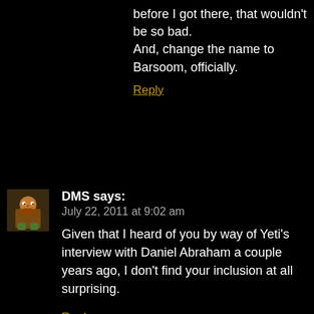before I got there, that wouldn't be so bad.
And, change the name to Barsoom, officially.
Reply
DMS says:
July 22, 2011 at 9:02 am
Given that I heard of you by way of Yeti's interview with Daniel Abraham a couple years ago, I don't find your inclusion at all surprising.
Reply